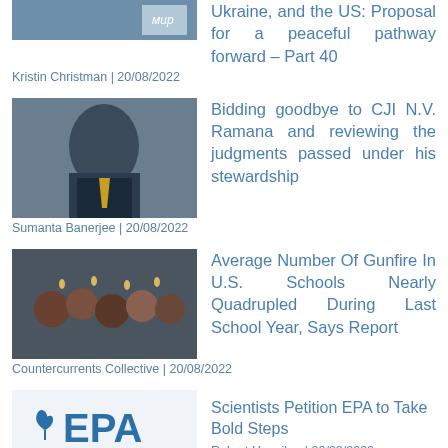Ukraine, and the US: Proposal for a peaceful pathway forward – Part 40
Kristin Christman | 20/08/2022
Bidding goodbye to CJI N.V. Ramana and reviewing the judgments passed under his stewardship
Sumanta Banerjee | 20/08/2022
Average Number Of Gunfire In U.S. Schools Nearly Quadrupled During Last School Year, Says Report
Countercurrents Collective | 20/08/2022
Scientists Petition EPA to Take Bold Steps
Robert Hunziker | 20/08/2022
Racist West Ignores Palestinian Genocide